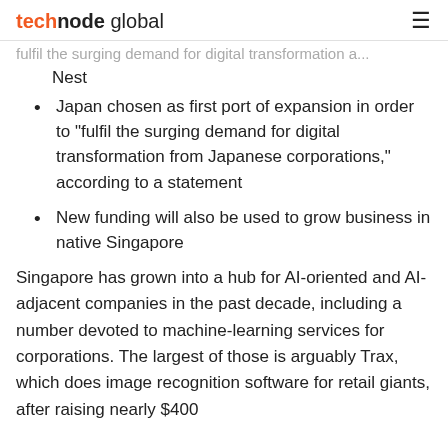technode global
Nest
Japan chosen as first port of expansion in order to “fulfil the surging demand for digital transformation from Japanese corporations,” according to a statement
New funding will also be used to grow business in native Singapore
Singapore has grown into a hub for AI-oriented and AI-adjacent companies in the past decade, including a number devoted to machine-learning services for corporations. The largest of those is arguably Trax, which does image recognition software for retail giants, after raising nearly $400